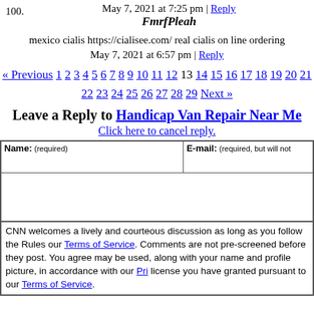May 7, 2021 at 7:25 pm | Reply
100. FmrfPleah
mexico cialis https://cialisee.com/ real cialis on line ordering
May 7, 2021 at 6:57 pm | Reply
« Previous 1 2 3 4 5 6 7 8 9 10 11 12 13 14 15 16 17 18 19 20 21 22 23 24 25 26 27 28 29 Next »
Leave a Reply to Handicap Van Repair Near Me
Click here to cancel reply.
CNN welcomes a lively and courteous discussion as long as you follow the Rules our Terms of Service. Comments are not pre-screened before they post. You agree may be used, along with your name and profile picture, in accordance with our Pri license you have granted pursuant to our Terms of Service.